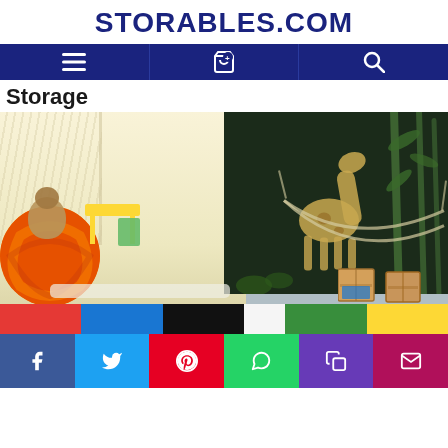STORABLES.COM
[Figure (screenshot): Website navigation bar with hamburger menu, shopping cart, and search icons on dark blue background]
Storage
[Figure (photo): Colorful children's playroom with hammock, orange bean bag chair with teddy bear, yellow table, green storage boxes, chalkboard wall with giraffe and bamboo chalk drawings, wooden crates, and colorful striped floor mat]
[Figure (infographic): Social share bar with Facebook, Twitter, Pinterest, WhatsApp, Copy Link, and Email buttons]